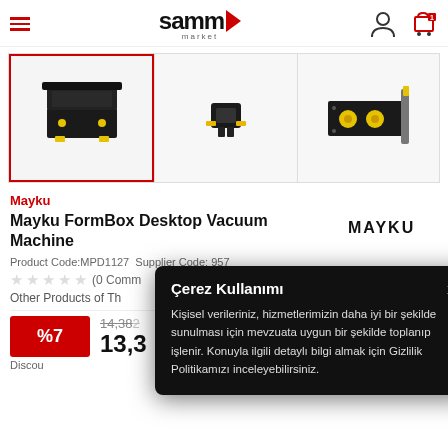samm market
[Figure (photo): Three product thumbnail images of Mayku FormBox Desktop Vacuum Machine. First image (selected/highlighted) shows front view with yellow accents. Second shows a black component part. Third shows side view with yellow knobs.]
Mayku
Mayku FormBox Desktop Vacuum Machine
[Figure (logo): MAYKU brand logo in bold black uppercase letters]
Product Code:MPD1127  Supplier Code: 957
★★★★★ (0 Comments)
Other Products of Th...
%7  14,382...  13,3...
Discou...
Çerez Kullanımı

Kişisel verileriniz, hizmetlerimizin daha iyi bir şekilde sunulması için mevzuata uygun bir şekilde toplanıp işlenir. Konuyla ilgili detaylı bilgi almak için Gizlilik Politikamızı inceleyebilirsiniz.